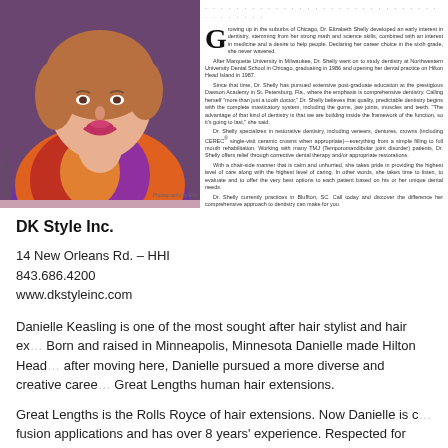[Figure (photo): Photo of Dr. Elizabeth Shelly, a woman in a purple top with a colorful scarf, smiling]
Growing up in the suburbs of Chicago, Dr. Elizabeth Shelly developed an early interest in dentistry, stemming from her strong math and science skills, combined with an interest in medicine and a desire to help people. Declaring her career choice in the sixth grade, she never wavered. After Marquette University in Milwaukee, Dr. Shelly went on to study dentistry at Northwestern University Dental School in Chicago, graduating in 1986 and opening her dental practice on Hilton Head Island in 1987. Since that time, Dr. Shelly has pursued extensive post-graduate education at the prestigious Dawson Academy in St. Petersburg, Fla., where the emphasis is comprehensive dentistry. Calling herself 'more than just a tooth doctor,' Dr. Shelly believes that quality, predictable dentistry begins with the complete masticatory system, including the gums, jaw joints, muscles and teeth. 'The advantage of that kind of dentistry is that we are building inside the framework of the function, so it's going to last,' she said. Dr. Shelly specializes in restorative dentistry, including veneers, dentures, crowns (including CEREC single-visit ceramic crowns when appropriate)—everything from a simple filling to full mouth rehabilitation. Working with many TMJ (Temporomandibular joint disorder) patients, Dr. Shelly offers relief through corrective dental therapy and/or appropriate restorations. With a chair-side manner that is calm and unhurried, she takes pride in providing the highest level of care along with the highest level of caring. In other words, she takes time to listen, to evaluate and to offer the very best options to each patient based on his or her unique dental needs. Dr. Shelly currently practices in Bluffton, SC. Call today and discover the difference her comprehensive approach to dentistry can make for you.
DK Style Inc.
14 New Orleans Rd. – HHI
843.686.4200
www.dkstyleinc.com
Danielle Keasling is one of the most sought after hair stylist and hair ex... Born and raised in Minneapolis, Minnesota Danielle made Hilton Head... after moving here, Danielle pursued a more diverse and creative caree... Great Lengths human hair extensions.
Great Lengths is the Rolls Royce of hair extensions. Now Danielle is c... fusion applications and has over 8 years' experience. Respected for he... artful eye, Danielle has been a huge influence in bringing hair extensio...